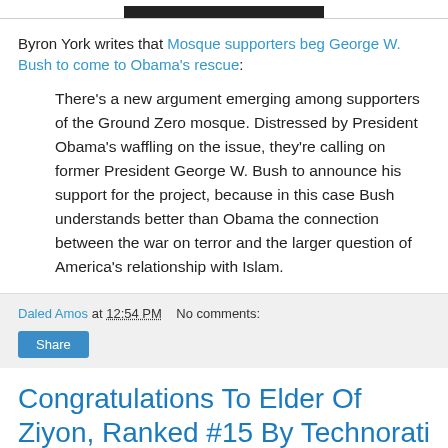[Figure (other): Top image bar, partially visible at top of page, black rectangle on white background]
Byron York writes that Mosque supporters beg George W. Bush to come to Obama's rescue:
There's a new argument emerging among supporters of the Ground Zero mosque. Distressed by President Obama's waffling on the issue, they're calling on former President George W. Bush to announce his support for the project, because in this case Bush understands better than Obama the connection between the war on terror and the larger question of America's relationship with Islam.
Daled Amos at 12:54 PM   No comments:
Share
Congratulations To Elder Of Ziyon, Ranked #15 By Technorati